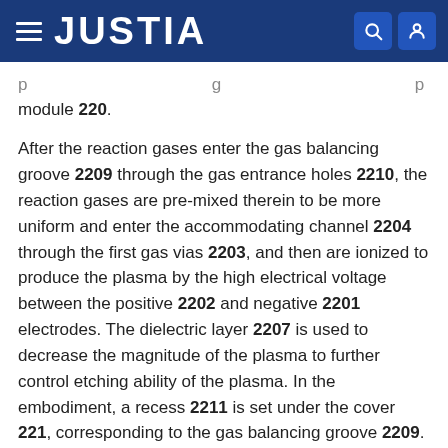JUSTIA
module 220.
After the reaction gases enter the gas balancing groove 2209 through the gas entrance holes 2210, the reaction gases are pre-mixed therein to be more uniform and enter the accommodating channel 2204 through the first gas vias 2203, and then are ionized to produce the plasma by the high electrical voltage between the positive 2202 and negative 2201 electrodes. The dielectric layer 2207 is used to decrease the magnitude of the plasma to further control etching ability of the plasma. In the embodiment, a recess 2211 is set under the cover 221, corresponding to the gas balancing groove 2209. It should be noted that the recess 2211 is an optional component and is set according to practical conditions. A cooling unit 222 is further installed on the negative electrode 2201, corresponding to the two